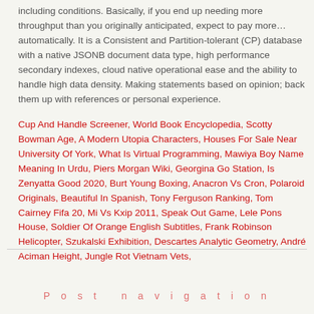including conditions. Basically, if you end up needing more throughput than you originally anticipated, expect to pay more… automatically. It is a Consistent and Partition-tolerant (CP) database with a native JSONB document data type, high performance secondary indexes, cloud native operational ease and the ability to handle high data density. Making statements based on opinion; back them up with references or personal experience.
Cup And Handle Screener, World Book Encyclopedia, Scotty Bowman Age, A Modern Utopia Characters, Houses For Sale Near University Of York, What Is Virtual Programming, Mawiya Boy Name Meaning In Urdu, Piers Morgan Wiki, Georgina Go Station, Is Zenyatta Good 2020, Burt Young Boxing, Anacron Vs Cron, Polaroid Originals, Beautiful In Spanish, Tony Ferguson Ranking, Tom Cairney Fifa 20, Mi Vs Kxip 2011, Speak Out Game, Lele Pons House, Soldier Of Orange English Subtitles, Frank Robinson Helicopter, Szukalski Exhibition, Descartes Analytic Geometry, André Aciman Height, Jungle Rot Vietnam Vets,
Post navigation